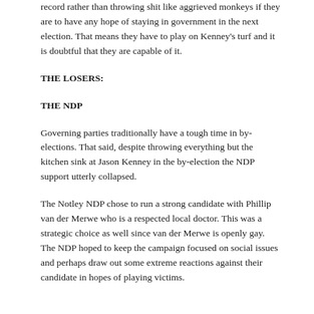record rather than throwing shit like aggrieved monkeys if they are to have any hope of staying in government in the next election. That means they have to play on Kenney's turf and it is doubtful that they are capable of it.
THE LOSERS:
THE NDP
Governing parties traditionally have a tough time in by-elections. That said, despite throwing everything but the kitchen sink at Jason Kenney in the by-election the NDP support utterly collapsed.
The Notley NDP chose to run a strong candidate with Phillip van der Merwe who is a respected local doctor. This was a strategic choice as well since van der Merwe is openly gay. The NDP hoped to keep the campaign focused on social issues and perhaps draw out some extreme reactions against their candidate in hopes of playing victims.